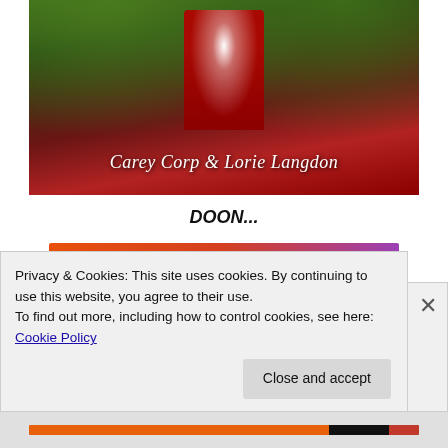[Figure (photo): Book cover image with a person in a red dress, authors listed as Carey Corp & Lorie Langdon]
DOON...
[Figure (illustration): Colorful Fandom on Tumblr promotional graphic with orange-to-purple gradient background and decorative icons]
Privacy & Cookies: This site uses cookies. By continuing to use this website, you agree to their use.
To find out more, including how to control cookies, see here: Cookie Policy
Close and accept